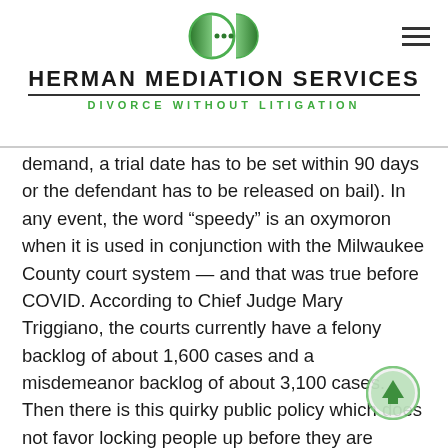HERMAN MEDIATION SERVICES — DIVORCE WITHOUT LITIGATION
demand, a trial date has to be set within 90 days or the defendant has to be released on bail). In any event, the word “speedy” is an oxymoron when it is used in conjunction with the Milwaukee County court system — and that was true before COVID. According to Chief Judge Mary Triggiano, the courts currently have a felony backlog of about 1,600 cases and a misdemeanor backlog of about 3,100 cases. Then there is this quirky public policy which does not favor locking people up before they are convicted since, unlikely as this is, there is a chance they may not be convicted at all.